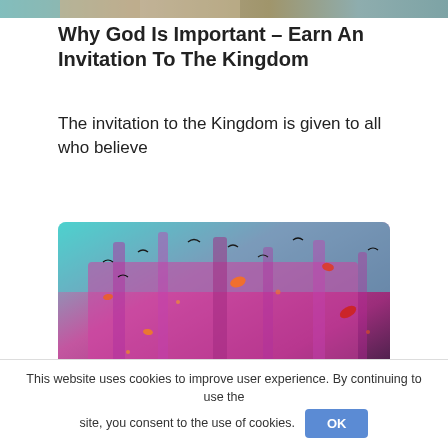[Figure (photo): Partial top strip of a photo visible at the very top of the page]
Why God Is Important – Earn An Invitation To The Kingdom
The invitation to the Kingdom is given to all who believe
[Figure (photo): Colorful abstract painting resembling a forest scene with pink, teal, and red hues, with scattered bird-like shapes]
This website uses cookies to improve user experience. By continuing to use the site, you consent to the use of cookies.